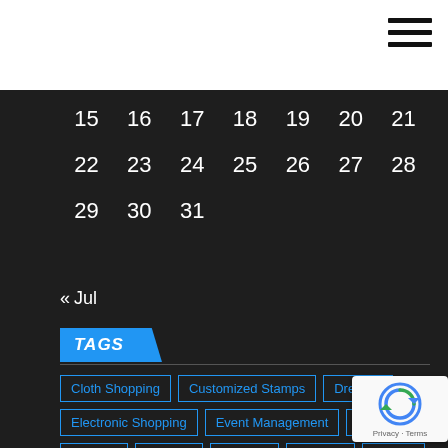[Figure (other): Hamburger menu icon (three horizontal lines) in top-right white bar]
| 15 | 16 | 17 | 18 | 19 | 20 | 21 |
| 22 | 23 | 24 | 25 | 26 | 27 | 28 |
| 29 | 30 | 31 |  |  |  |  |
« Jul
TAGS
Cloth Shopping
Customized Stamps
Dresses
Electronic Shopping
Event Management
Fashion
Flowers
General
Glasses
jewelery
jewelry
Online Shopping
Shoes and Footwear
Shopping
Shopping Coupon
Wedding Shopping